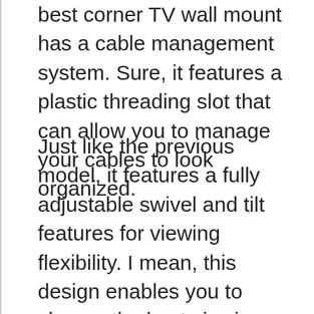best corner TV wall mount has a cable management system. Sure, it features a plastic threading slot that can allow you to manage your cables to look organized.
Just like the previous model, it features a fully adjustable swivel and tilt features for viewing flexibility. I mean, this design enables you to choose the best viewing angle. Sure, this corner TV mount is sturdy and convenient to adjust to any position to suit your limited space. In the same way, this product features a